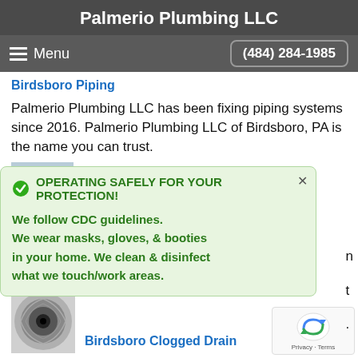Palmerio Plumbing LLC
Menu   (484) 284-1985
Birdsboro Piping
Palmerio Plumbing LLC has been fixing piping systems since 2016. Palmerio Plumbing LLC of Birdsboro, PA is the name you can trust.
[Figure (photo): Partial thumbnail of piping/plumbing image]
OPERATING SAFELY FOR YOUR PROTECTION!
We follow CDC guidelines.
We wear masks, gloves, & booties in your home. We clean & disinfect what we touch/work areas.
[Figure (photo): Thumbnail of a clogged drain/sink drain]
Birdsboro Clogged Drain
[Figure (other): reCAPTCHA badge with Privacy and Terms links]